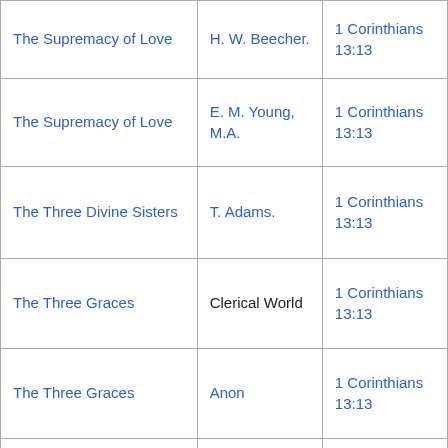| The Supremacy of Love | H. W. Beecher. | 1 Corinthians 13:13 |
| The Supremacy of Love | E. M. Young, M.A. | 1 Corinthians 13:13 |
| The Three Divine Sisters | T. Adams. | 1 Corinthians 13:13 |
| The Three Graces | Clerical World | 1 Corinthians 13:13 |
| The Three Graces | Anon | 1 Corinthians 13:13 |
|  |  |  |